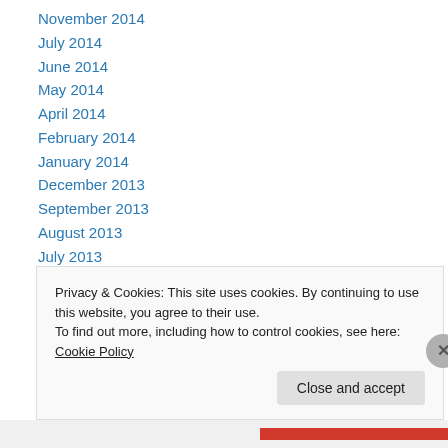November 2014
July 2014
June 2014
May 2014
April 2014
February 2014
January 2014
December 2013
September 2013
August 2013
July 2013
May 2013
April 2013
Privacy & Cookies: This site uses cookies. By continuing to use this website, you agree to their use. To find out more, including how to control cookies, see here: Cookie Policy
Close and accept